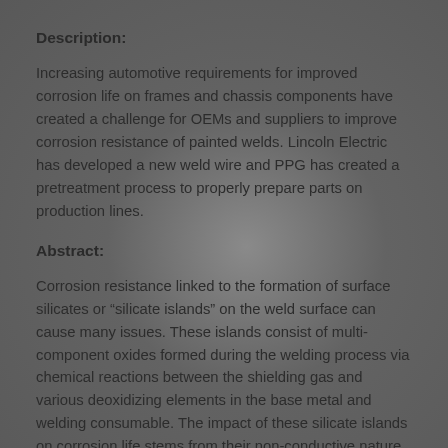Description:
Increasing automotive requirements for improved corrosion life on frames and chassis components have created a challenge for OEMs and suppliers to improve corrosion resistance of painted welds. Lincoln Electric has developed a new weld wire and PPG has created a pretreatment process to properly prepare parts on production lines.
Abstract:
Corrosion resistance linked to the formation of surface silicates or “silicate islands” on the weld surface can cause many issues. These islands consist of multi-component oxides formed during the welding process via chemical reactions between the shielding gas and various deoxidizing elements in the base metal and welding consumable. The impact of these silicate islands on corrosion life stems from their non-conductive nature that interferes with the ecoat process commonly utilized by the automotive industry.